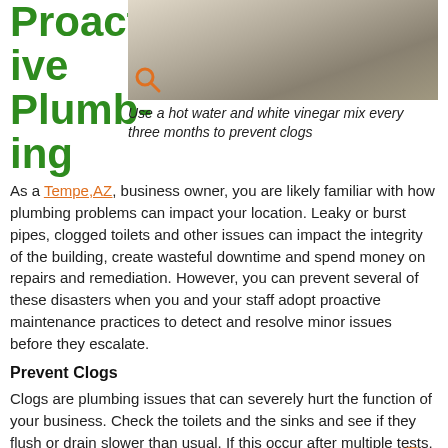Proactive Plumbing
[Figure (photo): Close-up photo of a glass bottle or container on a surface, partially cropped]
Use a hot water and white vinegar mix every three months to prevent clogs
As a Tempe,AZ, business owner, you are likely familiar with how plumbing problems can impact your location. Leaky or burst pipes, clogged toilets and other issues can impact the integrity of the building, create wasteful downtime and spend money on repairs and remediation. However, you can prevent several of these disasters when you and your staff adopt proactive maintenance practices to detect and resolve minor issues before they escalate.
Prevent Clogs
Clogs are plumbing issues that can severely hurt the function of your business. Check the toilets and the sinks and see if they flush or drain slower than usual. If this occurs after multiple tests, it means there is likely a clog present. You or your crew can use specific tools to unclog a toilet or